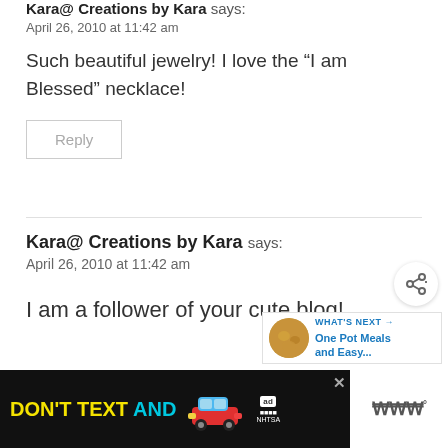Kara@ Creations by Kara says:
April 26, 2010 at 11:42 am
Such beautiful jewelry! I love the “I am Blessed” necklace!
Reply
Kara@ Creations by Kara says:
April 26, 2010 at 11:42 am
I am a follower of your cute blog!
[Figure (infographic): Advertisement banner: DON'T TEXT AND [car image] with ad label and NHTSA logo. Right side shows TV/streaming logo.]